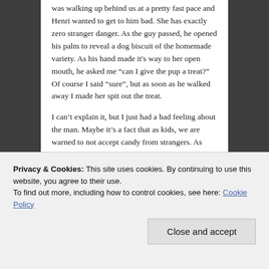was walking up behind us at a pretty fast pace and Henri wanted to get to him bad. She has exactly zero stranger danger. As the guy passed, he opened his palm to reveal a dog biscuit of the homemade variety. As his hand made it's way to her open mouth, he asked me “can I give the pup a treat?” Of course I said “sure”, but as soon as he walked away I made her spit out the treat.
I can’t explain it, but I just had a bad feeling about the man. Maybe it’s a fact that as kids, we are warned to not accept candy from strangers. As college students, we learn to never set our drinks down or accept drinks from strangers. As adults in the working world, we learn to politely refuse food
He wasn’t walking a dog, yet he had a homemade
Privacy & Cookies: This site uses cookies. By continuing to use this website, you agree to their use.
To find out more, including how to control cookies, see here: Cookie Policy